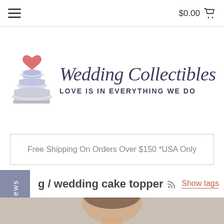$0.00
[Figure (logo): Wedding Collectibles logo with wedding cake and heart, tagline: LOVE IS IN EVERYTHING WE DO]
Free Shipping On Orders Over $150 *USA Only
g / wedding cake topper
Show tags
Reviews
[Figure (photo): Person working on a wedding cake topper, viewed from above]